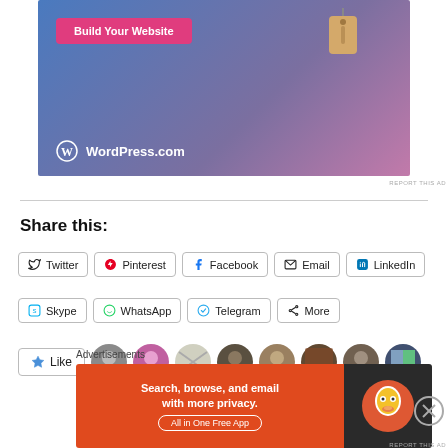[Figure (illustration): WordPress.com advertisement banner with gradient blue-purple background, a 'Build Your Website' pink button, a hanging price tag graphic, and the WordPress.com logo with text.]
REPORT THIS AD
Share this:
[Figure (screenshot): Social sharing buttons: Twitter, Pinterest, Facebook, Email, LinkedIn in the first row; Skype, WhatsApp, Telegram, More in the second row.]
[Figure (screenshot): Like button with star icon followed by user avatar thumbnails.]
Advertisements
[Figure (illustration): DuckDuckGo advertisement: 'Search, browse, and email with more privacy. All in One Free App' on orange background with DuckDuckGo duck logo on dark background.]